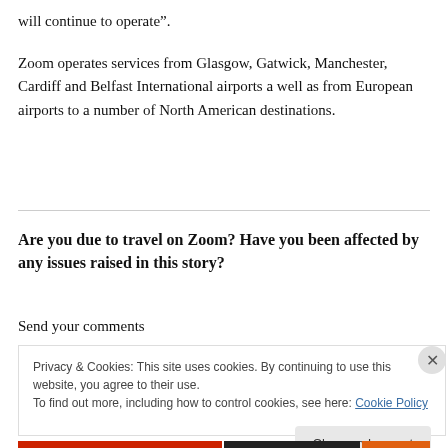will continue to operate”.
Zoom operates services from Glasgow, Gatwick, Manchester, Cardiff and Belfast International airports a well as from European airports to a number of North American destinations.
Are you due to travel on Zoom? Have you been affected by any issues raised in this story?
Send your comments
Privacy & Cookies: This site uses cookies. By continuing to use this website, you agree to their use.
To find out more, including how to control cookies, see here: Cookie Policy
Close and accept